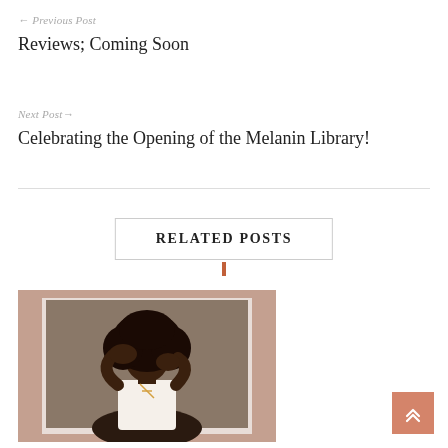← Previous Post
Reviews; Coming Soon
Next Post→
Celebrating the Opening of the Melanin Library!
RELATED POSTS
[Figure (photo): A Black woman with large natural hair posing with hands near her face, wearing a white top and cross necklace, displayed in a polaroid-style card with mauve border]
[Figure (other): Orange scroll-to-top button with double chevron up arrows in bottom right corner]